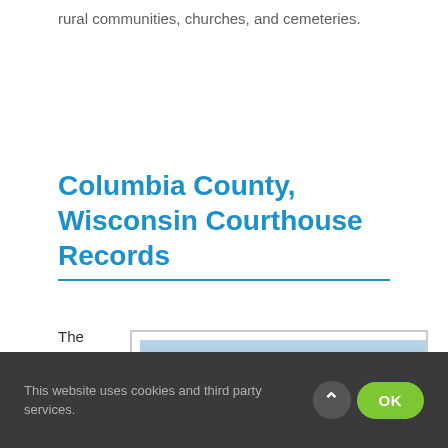rural communities, churches, and cemeteries.
Columbia County, Wisconsin Courthouse Records
The
[Figure (photo): Partial view of a building (courthouse) with blue sky background, shown inside a framed image block]
This website uses cookies and third party services.